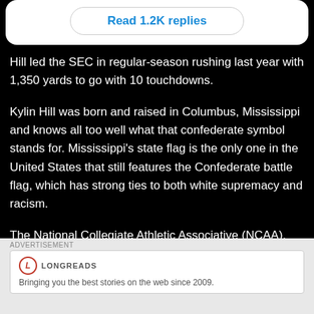Read 1.2K replies
Hill led the SEC in regular-season rushing last year with 1,350 yards to go with 10 touchdowns.
Kylin Hill was born and raised in Columbus, Mississippi and knows all too well what that confederate symbol stands for. Mississippi's state flag is the only one in the United States that still features the Confederate battle flag, which has strong ties to both white supremacy and racism.
The National Collegiate Athletic Associative (NCAA),
ADVERTISEMENT
LONGREADS
Bringing you the best stories on the web since 2009.